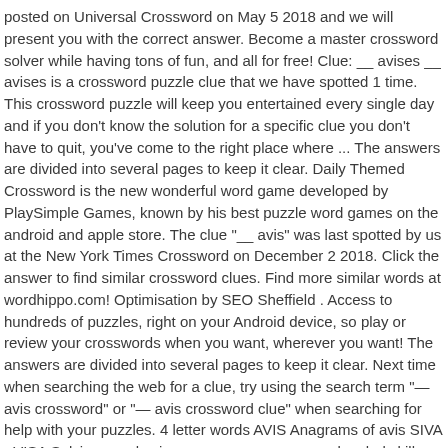posted on Universal Crossword on May 5 2018 and we will present you with the correct answer. Become a master crossword solver while having tons of fun, and all for free! Clue: __ avises __ avises is a crossword puzzle clue that we have spotted 1 time. This crossword puzzle will keep you entertained every single day and if you don't know the solution for a specific clue you don't have to quit, you've come to the right place where ... The answers are divided into several pages to keep it clear. Daily Themed Crossword is the new wonderful word game developed by PlaySimple Games, known by his best puzzle word games on the android and apple store. The clue "__ avis" was last spotted by us at the New York Times Crossword on December 2 2018. Click the answer to find similar crossword clues. Find more similar words at wordhippo.com! Optimisation by SEO Sheffield . Access to hundreds of puzzles, right on your Android device, so play or review your crosswords when you want, wherever you want! The answers are divided into several pages to keep it clear. Next time when searching the web for a clue, try using the search term "— avis crossword" or "— avis crossword clue" when searching for help with your puzzles. 4 letter words AVIS Anagrams of avis SIVA - VISA Solving puzzles improves your memory and verbal skills while making you solve problems and focus your